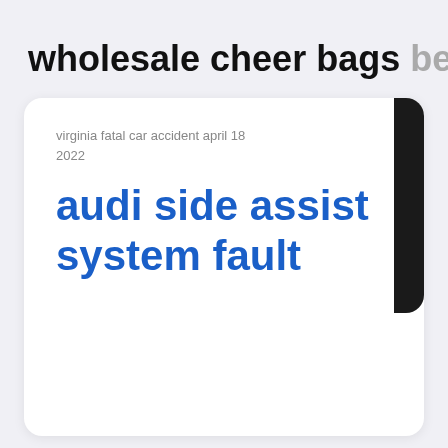wholesale cheer bags best yeom
virginia fatal car accident april 18 2022
audi side assist system fault